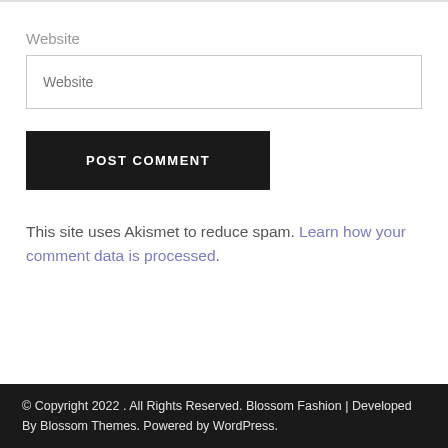Website
Website
POST COMMENT
This site uses Akismet to reduce spam. Learn how your comment data is processed.
© Copyright 2022 . All Rights Reserved. Blossom Fashion | Developed By Blossom Themes. Powered by WordPress.